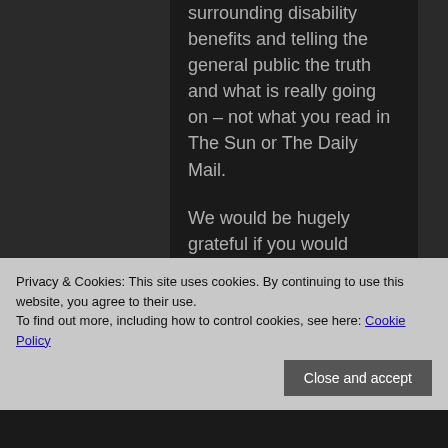surrounding disability benefits and telling the general public the truth and what is really going on – not what you read in The Sun or The Daily Mail.
We would be hugely grateful if you would inform yourself and join with us in this important work by letting family, friends and colleagues know the facts
Privacy & Cookies: This site uses cookies. By continuing to use this website, you agree to their use.
To find out more, including how to control cookies, see here: Cookie Policy